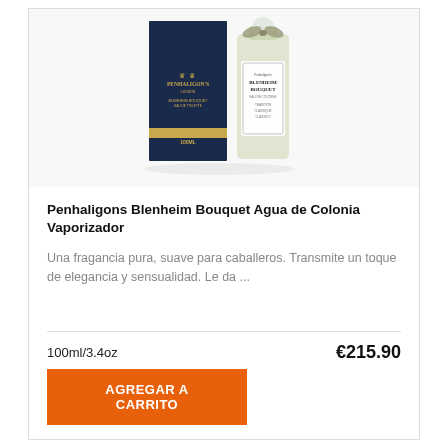[Figure (photo): Penhaligon's Blenheim Bouquet perfume product photo showing a dark navy blue box with gold text and a glass cologne bottle with a ribbon bow on a white background]
Penhaligons Blenheim Bouquet Agua de Colonia Vaporizador
Una fragancia pura, suave para caballeros. Transmite un toque de elegancia y sensualidad. Le da ...
100ml/3.4oz
€215.90
AGREGAR A CARRITO